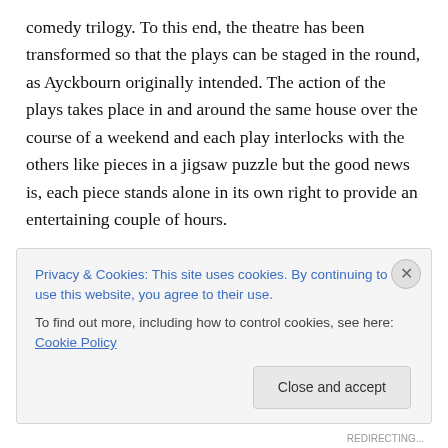comedy trilogy.  To this end, the theatre has been transformed so that the plays can be staged in the round, as Ayckbourn originally intended.   The action of the plays takes place in and around the same house over the course of a weekend and each play interlocks with the others like pieces in a jigsaw puzzle but the good news is, each piece stands alone in its own right to provide an entertaining couple of hours.
This one, as the title gives away, takes place in the garden.  Annie (Lily Skinner) is planning a dirty weekend
Privacy & Cookies: This site uses cookies. By continuing to use this website, you agree to their use.
To find out more, including how to control cookies, see here: Cookie Policy